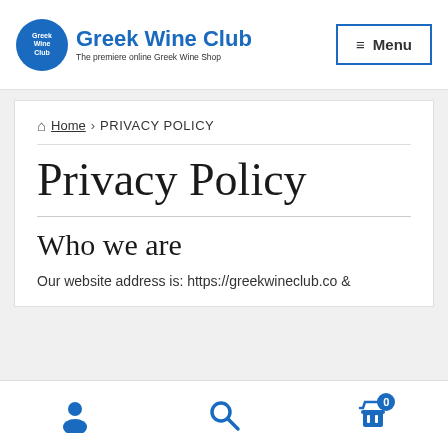Greek Wine Club — The premiere online Greek Wine Shop | Menu
Home › PRIVACY POLICY
Privacy Policy
Who we are
Our website address is: https://greekwineclub.co &